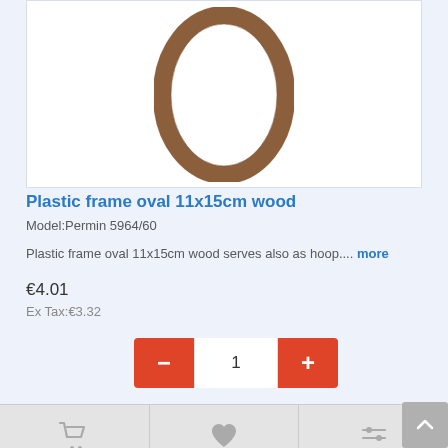[Figure (photo): Oval wooden plastic embroidery frame/hoop, brown wood grain finish, viewed from front]
Plastic frame oval 11x15cm wood
Model:Permin 5964/60
Plastic frame oval 11x15cm wood serves also as hoop.... more
€4.01
Ex Tax:€3.32
[Figure (screenshot): Quantity selector with minus button, quantity value 1, and plus button (red/orange buttons)]
[Figure (screenshot): Action bar with shopping cart icon, heart/wishlist icon, and compare icon]
[Figure (photo): Second product - partially visible oval embroidery hoop with blue/grey color and metal clasp at top]